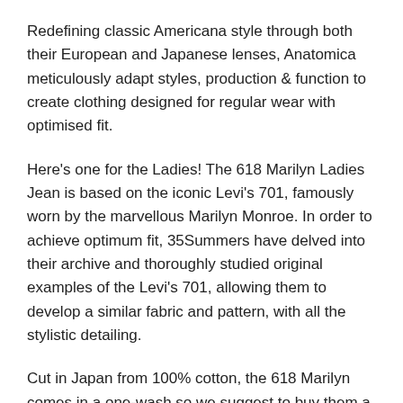Redefining classic Americana style through both their European and Japanese lenses, Anatomica meticulously adapt styles, production & function to create clothing designed for regular wear with optimised fit.
Here's one for the Ladies! The 618 Marilyn Ladies Jean is based on the iconic Levi's 701, famously worn by the marvellous Marilyn Monroe. In order to achieve optimum fit, 35Summers have delved into their archive and thoroughly studied original examples of the Levi's 701, allowing them to develop a similar fabric and pattern, with all the stylistic detailing.
Cut in Japan from 100% cotton, the 618 Marilyn comes in a one-wash so we suggest to buy them a little tight as they will stretch at least 1cm in the waist with some wear. Coming in at a lightweight 11oz, they are a little lighter than standard, allowing for ease of wear and optimum comfort. A high rise and a full cut with slight taper completes the silhouette.